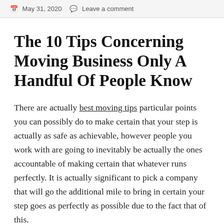May 31, 2020   Leave a comment
The 10 Tips Concerning Moving Business Only A Handful Of People Know
There are actually best moving tips particular points you can possibly do to make certain that your step is actually as safe as achievable, however people you work with are going to inevitably be actually the ones accountable of making certain that whatever runs perfectly. It is actually significant to pick a company that will go the additional mile to bring in certain your step goes as perfectly as possible due to the fact that of this.
Mov...